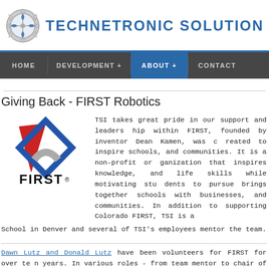[Figure (logo): Technetronic Solutions logo: gear icon with puzzle pieces and blue text TECHNETRONIC SOLUTIONS]
TECHNETRONIC SOLUTIONS
[Figure (infographic): Navigation bar with HOME, DEVELOPMENT +, ABOUT + (active/highlighted), CONTACT menu items]
Giving Back - FIRST Robotics
[Figure (logo): FIRST Robotics logo: red triangle and blue diamond interlocked shapes with FIRST text below]
TSI takes great pride in our support and leadership within FIRST, founded by inventor Dean Kamen, was created to inspire schools, and communities. It is a non-profit organization knowledge, and life skills while motivating students. FIRST brings together schools with businesses, and communities. In addition to supporting Colorado FIRST, TSI is at School in Denver and several of TSI's employees mentor the team.
Dawn Lutz and Donald Lutz have been volunteers for FIRST for over ten years. In various roles - from team mentor to chair of the Colorado FIRST